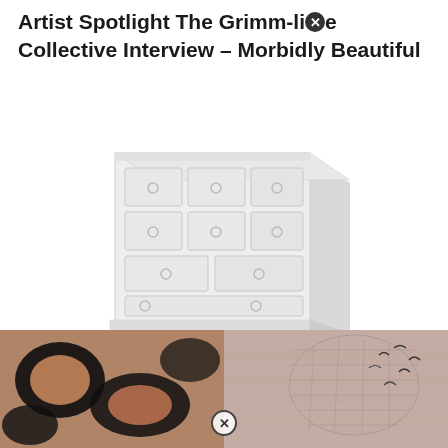Artist Spotlight The Grimm-life Collective Interview – Morbidly Beautiful
[Figure (illustration): A white dresser/chest of drawers shown in perspective, with circular drawer pulls, light gray/white tones]
The Grimm Life Collective – We Have Officially Been To Star Wars Galaxys Edge On Both The East And West Coasts
Welcome To The Grimm-order Facebook
[Figure (photo): Two side-by-side photos: left showing dark abstract textile/artwork with moon-like shapes in black and tan; right showing a 3D wireframe render of a figure with birds]